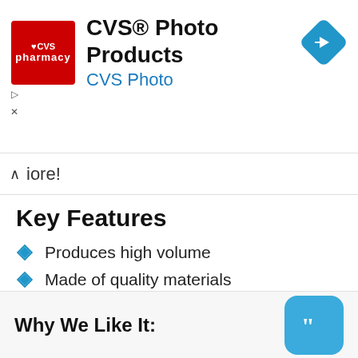[Figure (logo): CVS Photo Products advertisement banner with CVS pharmacy logo, title 'CVS® Photo Products', subtitle 'CVS Photo', and a blue navigation/directions diamond icon]
iore!
Key Features
Produces high volume
Made of quality materials
Offers hassle-free installation
Suitable for most 12V vehicles
Why We Like It: